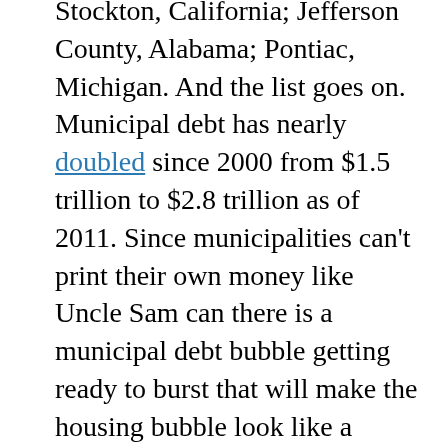Stockton, California; Jefferson County, Alabama; Pontiac, Michigan. And the list goes on. Municipal debt has nearly doubled since 2000 from $1.5 trillion to $2.8 trillion as of 2011. Since municipalities can't print their own money like Uncle Sam can there is a municipal debt bubble getting ready to burst that will make the housing bubble look like a hiccup. But there is a bright side to all of this, and Detroit is it. How so? For sure Detroit is in the condition it is in (abandoned homes, cars, factories, etc.) because of the actions of its overlords (city council). However, the response of its citizens to those actions has yielded the city we see today. Those citizens left. Those businesses left. And the fact that they were free to do so reveals the glimmer of hope for us all. We can at least (still) leave any relationship that is injurious. If the city had erected a wall and made it illegal to leave the city, illegal to close down a business, illegal to quit a job, it would no longer be a city but a prison (or any Ayn Rand novel, take your pick).
When did the municipalities go? To...